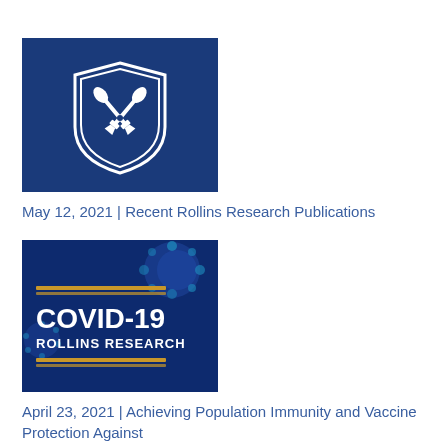[Figure (logo): Rollins School of Public Health shield logo on dark blue background]
May 12, 2021 | Recent Rollins Research Publications
[Figure (illustration): COVID-19 Rollins Research image with coronavirus particles on blue background and gold horizontal lines]
April 23, 2021 | Achieving Population Immunity and Vaccine Protection Against